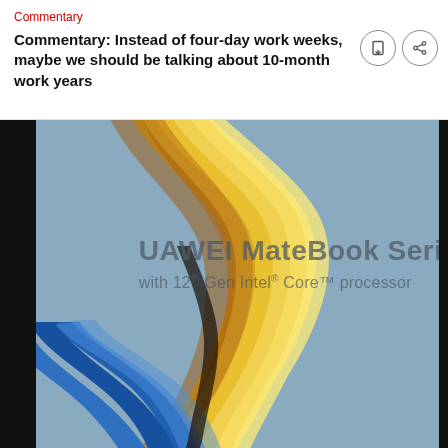Commentary
Commentary: Instead of four-day work weeks, maybe we should be talking about 10-month work years
[Figure (photo): HUAWEI MateBook Series advertisement image showing colorful flowing ribbons of gold, blue, and orange against a steel blue background, with text reading 'HUAWEI MateBook Series with 12th Gen Intel® Core™ processor']